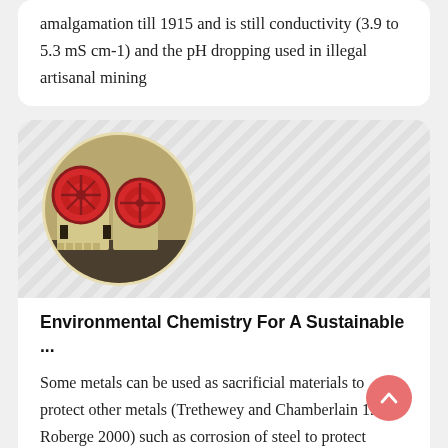amalgamation till 1915 and is still conductivity (3.9 to 5.3 mS cm-1) and the pH dropping used in illegal artisanal mining
[Figure (photo): Circular photo of industrial jaw crusher / mining equipment machine in beige/yellow color, set against a diagonal stripe pattern background]
Environmental Chemistry For A Sustainable ...
Some metals can be used as sacrificial materials to protect other metals (Trethewey and Chamberlain 1995; Roberge 2000) such as corrosion of steel to protect copper elements. The occurrence of corrosion can be favoured by heterogeneities such as grain interfaces, scratches, crevices or inclusions that